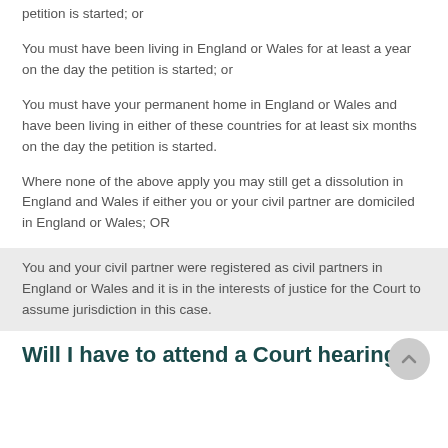Your civil partner must be living in England or Wales when the petition is started; or
You must have been living in England or Wales for at least a year on the day the petition is started; or
You must have your permanent home in England or Wales and have been living in either of these countries for at least six months on the day the petition is started.
Where none of the above apply you may still get a dissolution in England and Wales if either you or your civil partner are domiciled in England or Wales; OR
You and your civil partner were registered as civil partners in England or Wales and it is in the interests of justice for the Court to assume jurisdiction in this case.
Will I have to attend a Court hearing?